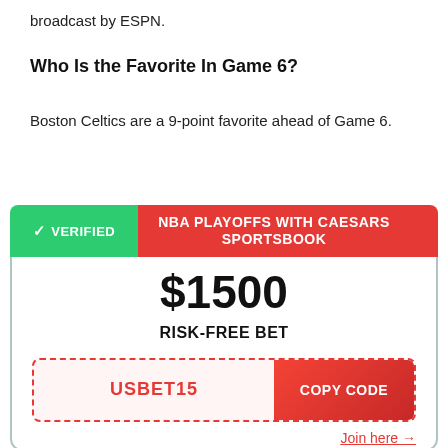broadcast by ESPN.
Who Is the Favorite In Game 6?
Boston Celtics are a 9-point favorite ahead of Game 6.
[Figure (infographic): Caesars Sportsbook promo banner with verified badge, NBA Playoffs offer, $1500 risk-free bet, promo code USBET15, copy code button, and join here link]